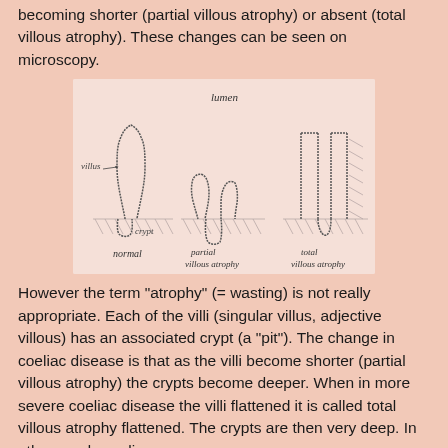becoming shorter (partial villous atrophy) or absent (total villous atrophy). These changes can be seen on microscopy.
[Figure (illustration): Hand-drawn medical illustration showing three cross-sectional diagrams of intestinal villi: (1) normal villi with label 'villus' and 'crypt', labeled 'normal'; (2) shorter villi labeled 'partial villous atrophy'; (3) flattened villi labeled 'total villous atrophy'. The word 'lumen' appears at the top. Hatching indicates the mucosal layer.]
However the term "atrophy" (= wasting) is not really appropriate. Each of the villi (singular villus, adjective villous) has an associated crypt (a "pit"). The change in coeliac disease is that as the villi become shorter (partial villous atrophy) the crypts become deeper. When in more severe coeliac disease the villi flattened it is called total villous atrophy flattened. The crypts are then very deep. In other words coeliac